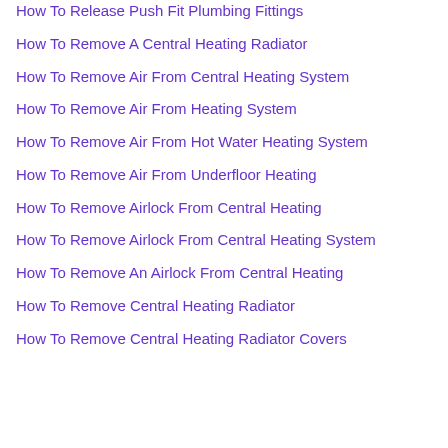How To Release Push Fit Plumbing Fittings
How To Remove A Central Heating Radiator
How To Remove Air From Central Heating System
How To Remove Air From Heating System
How To Remove Air From Hot Water Heating System
How To Remove Air From Underfloor Heating
How To Remove Airlock From Central Heating
How To Remove Airlock From Central Heating System
How To Remove An Airlock From Central Heating
How To Remove Central Heating Radiator
How To Remove Central Heating Radiator Covers